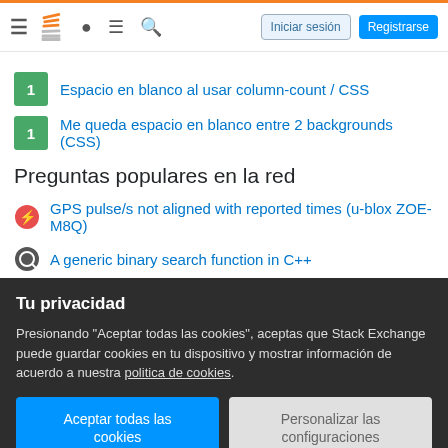Stack Exchange navigation bar with hamburger menu, logo, help, chat, search icons, Iniciar sesión and Registrarse buttons
1 — Espacio en blanco al usar column-count / CSS
1 — Me queda espacio en blanco entre 2 backgrounds (CSS)
Preguntas populares en la red
GPS pulse/s not aligned with reported times (u-blox ZOE-M8Q)
A generic binary search function in C++
Are there rules about "off the record" in journalism?
Does GDPR restrict handling data that the user has certified is not...
Tu privacidad
Presionando "Aceptar todas las cookies", aceptas que Stack Exchange puede guardar cookies en tu dispositivo y mostrar información de acuerdo a nuestra politica de cookies.
Aceptar todas las cookies
Personalizar las configuraciones
Poincare recurrence and its implications for statistical physics and the arrow of time